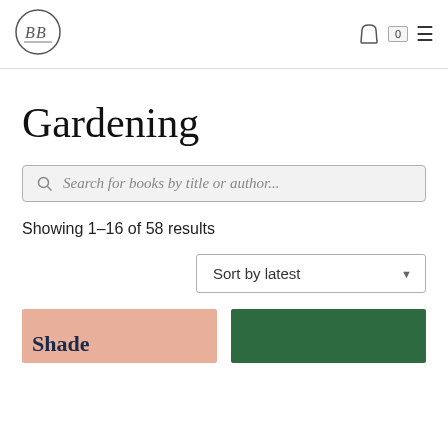[Figure (logo): Circular logo with overlapping B letters inside a circle, bookshop branding]
Gardening
Search for books by title or author...
Showing 1–16 of 58 results
Sort by latest
[Figure (photo): Partial view of two book covers: left is salmon/peach colored with text 'Shade', right is dark green colored]